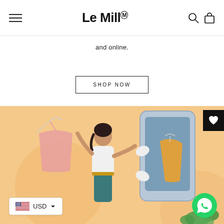Le Mill (M) [hamburger menu, search, cart icons]
and online.
SHOP NOW
[Figure (illustration): Illustration of a woman holding clothes on hangers in front of a large smartphone, with clothing items visible both in the physical and digital space. Orange/peach background with decorative circles. Green plants in bottom right corner.]
USD